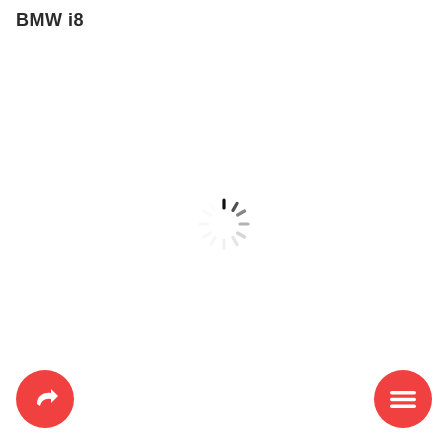BMW i8
[Figure (other): Loading spinner (radial lines in a circle pattern) centered on the page]
[Figure (other): Red circular button with a white share/reply arrow icon, bottom-left corner]
[Figure (other): Red circular button with a white hamburger/menu icon, bottom-right corner]